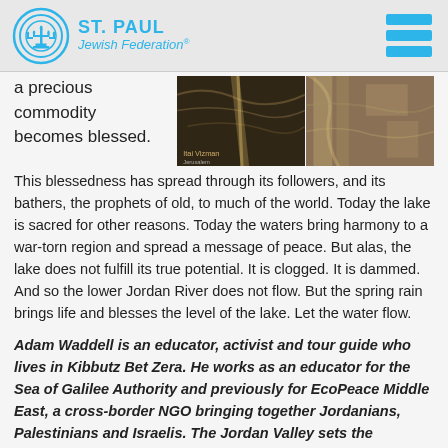ST. PAUL Jewish Federation
a precious commodity becomes blessed.
[Figure (photo): Two side-by-side water/cave images with photographer credit 'Itai Vizman']
This blessedness has spread through its followers, and its bathers, the prophets of old, to much of the world. Today the lake is sacred for other reasons. Today the waters bring harmony to a war-torn region and spread a message of peace. But alas, the lake does not fulfill its true potential. It is clogged. It is dammed. And so the lower Jordan River does not flow. But the spring rain brings life and blesses the level of the lake. Let the water flow.
Adam Waddell is an educator, activist and tour guide who lives in Kibbutz Bet Zera. He works as an educator for the Sea of Galilee Authority and previously for EcoPeace Middle East, a cross-border NGO bringing together Jordanians, Palestinians and Israelis. The Jordan Valley sets the backdrop for Adam's journey in peace...